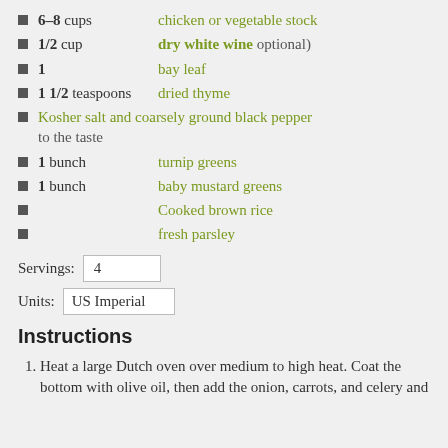6–8 cups — chicken or vegetable stock
1/2 cup — dry white wine optional)
1 — bay leaf
1 1/2 teaspoons — dried thyme
Kosher salt and coarsely ground black pepper to the taste
1 bunch — turnip greens
1 bunch — baby mustard greens
Cooked brown rice
fresh parsley
Servings: 4
Units: US Imperial
Instructions
Heat a large Dutch oven over medium to high heat. Coat the bottom with olive oil, then add the onion, carrots, and celery and